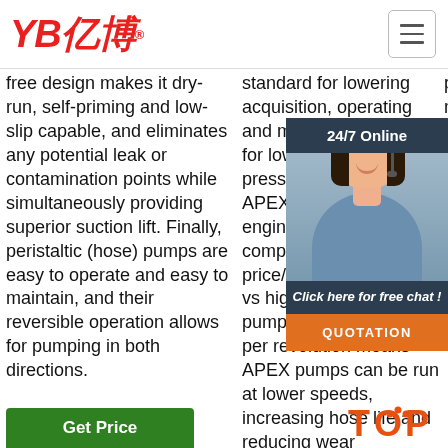YB亿博® [hamburger menu]
free design makes it dry-run, self-priming and low-slip capable, and eliminates any potential leak or contamination points while simultaneously providing superior suction lift. Finally, peristaltic (hose) pumps are easy to operate and easy to maintain, and their reversible operation allows for pumping in both directions.
standard for lowering acquisition, operating and maintenance costs for low to medium pressure applications. APEX pumps are engineered for a more competitive price/performance ratio vs high pressure hose pumps. The higher flow per revolution means APEX pumps can be run at lower speeds, increasing hose life and reducing wear
particle sizes from 1.5 millimeters to 18 millimeters including Soft solids from to 3 (0.0 including peristaltic can temperature range 70 (F) with models featuring an EPDM hose capable of handling maximum temperatures of ...
[Figure (photo): Customer service representative with headset, 24/7 Online chat widget with dark navy background header, orange QUOTATION button]
[Figure (logo): TOP logo with orange dots in bottom right corner]
Get Price